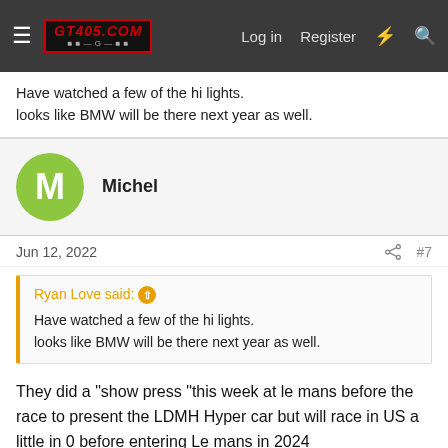GT405.COM — Log in | Register
Have watched a few of the hi lights.
looks like BMW will be there next year as well.
Michel
Jun 12, 2022  #7
Ryan Love said: ↑
Have watched a few of the hi lights.
looks like BMW will be there next year as well.
They did a "show press "this week at le mans before the race to present the LDMH Hyper car but will race in US a little in 0 before entering Le mans in 2024
At the moment 12 oclock and 3 1/2 hours to go Jim car being